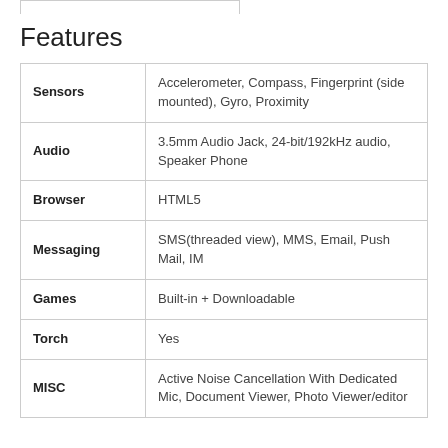Features
| Feature | Details |
| --- | --- |
| Sensors | Accelerometer, Compass, Fingerprint (side mounted), Gyro, Proximity |
| Audio | 3.5mm Audio Jack, 24-bit/192kHz audio, Speaker Phone |
| Browser | HTML5 |
| Messaging | SMS(threaded view), MMS, Email, Push Mail, IM |
| Games | Built-in + Downloadable |
| Torch | Yes |
| MISC | Active Noise Cancellation With Dedicated Mic, Document Viewer, Photo Viewer/editor |